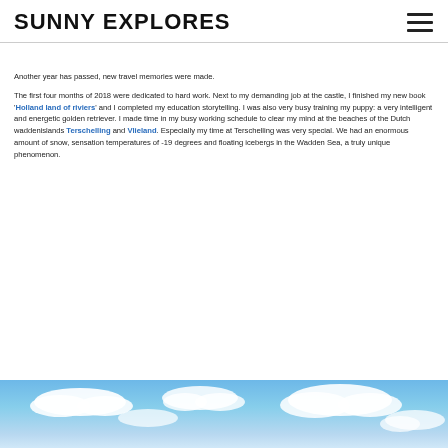SUNNY EXPLORES
Another year has passed, new travel memories were made.
The first four months of 2018 were dedicated to hard work. Next to my demanding job at the castle, I finished my new book 'Holland land of riviers' and I completed my education storytelling. I was also very busy training my puppy: a very intelligent and energetic golden retriever. I made time in my busy working schedule to clear my mind at the beaches of the Dutch waddenislands Terschelling and Vlieland. Especially my time at Terschelling was very special. We had an enormous amount of snow, sensation temperatures of -19 degrees and floating icebergs in the Wadden Sea, a truly unique phenomenon.
[Figure (photo): Blue sky with white fluffy clouds, photo strip at bottom of page]